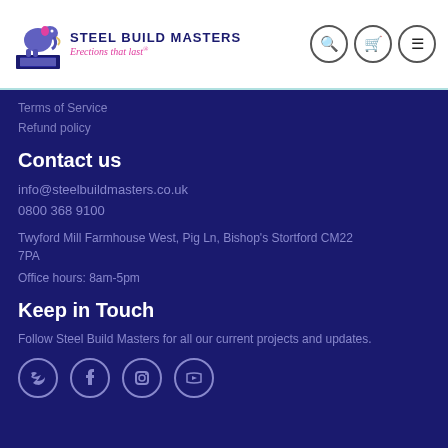[Figure (logo): Steel Build Masters logo with mammoth graphic and tagline 'Erections that last']
Terms of Service
Refund policy
Contact us
info@steelbuildmasters.co.uk
0800 368 9100
Twyford Mill Farmhouse West, Pig Ln, Bishop's Stortford CM22 7PA
Office hours: 8am-5pm
Keep in Touch
Follow Steel Build Masters for all our current projects and updates.
[Figure (illustration): Social media icons: Twitter, Facebook, Instagram, YouTube]